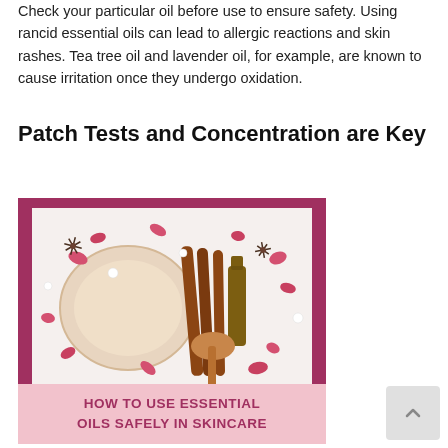Check your particular oil before use to ensure safety. Using rancid essential oils can lead to allergic reactions and skin rashes. Tea tree oil and lavender oil, for example, are known to cause irritation once they undergo oxidation.
Patch Tests and Concentration are Key
[Figure (photo): Photo of dried roses, star anise flowers, an amber essential oil bottle, cinnamon sticks, and a wooden spoon on a white background, surrounded by scattered rose petals. The image has a dark pink/maroon border and a light pink banner at the bottom reading 'HOW TO USE ESSENTIAL OILS SAFELY IN SKINCARE'.]